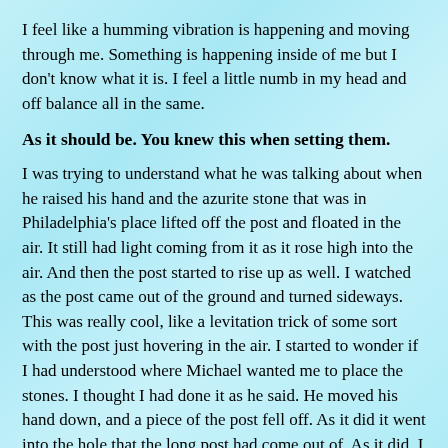I feel like a humming vibration is happening and moving through me. Something is happening inside of me but I don't know what it is. I feel a little numb in my head and off balance all in the same.
As it should be. You knew this when setting them.
I was trying to understand what he was talking about when he raised his hand and the azurite stone that was in Philadelphia's place lifted off the post and floated in the air. It still had light coming from it as it rose high into the air. And then the post started to rise up as well. I watched as the post came out of the ground and turned sideways. This was really cool, like a levitation trick of some sort with the post just hovering in the air. I started to wonder if I had understood where Michael wanted me to place the stones. I thought I had done it as he said. He moved his hand down, and a piece of the post fell off. As it did it went into the hole that the long post had come out of. As it did, I wondered if he would have as mush trouble getting it back in without all the dirt falling back into the hole. Of course he didn't, he was an angel, and things go the way they want them. The small part of the post went right in. The part that was sticking out was the same height as the one that was in my place in the matrix. This meant that the post supporting